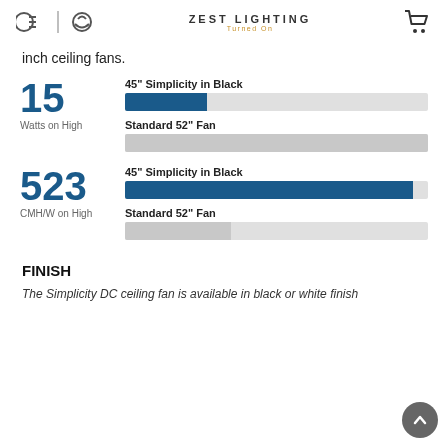ZEST LIGHTING — Turned On
inch ceiling fans.
[Figure (bar-chart): Watts on High — 15]
[Figure (bar-chart): CMH/W on High — 523]
FINISH
The Simplicity DC ceiling fan is available in black or white finish